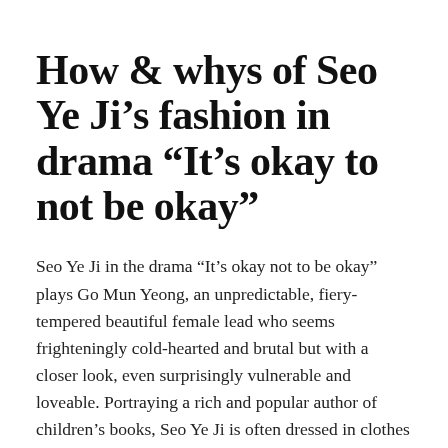How & whys of Seo Ye Ji's fashion in drama “It’s okay to not be okay”
Seo Ye Ji in the drama “It’s okay not to be okay” plays Go Mun Yeong, an unpredictable, fiery-tempered beautiful female lead who seems frighteningly cold-hearted and brutal but with a closer look, even surprisingly vulnerable and loveable. Portraying a rich and popular author of children’s books, Seo Ye Ji is often dressed in clothes
Continue reading. →